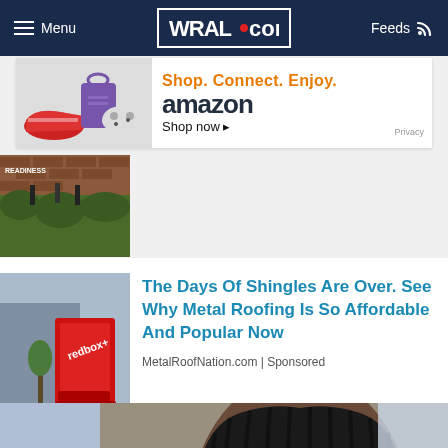Menu | WRAL.com | Feeds
[Figure (screenshot): Amazon advertisement banner: Shop. Connect. Enjoy. amazon Shop now. Privacy text at bottom right.]
[Figure (photo): Partial news article thumbnail showing outdoor scene with brick wall and green shrubs]
[Figure (photo): Red Redbox kiosk machine outside a building]
The Days Of Shingles Are Over. See Why Metal Roofing Is So Affordable And Popular Now
MetalRoofNation.com | Sponsored
[Figure (photo): Mugshot photo of a Black woman with braided hair, partially cropped, with WRAL logo overlay and play button visible]